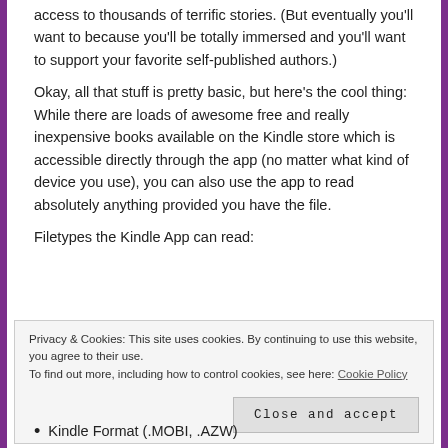access to thousands of terrific stories. (But eventually you'll want to because you'll be totally immersed and you'll want to support your favorite self-published authors.)
Okay, all that stuff is pretty basic, but here’s the cool thing: While there are loads of awesome free and really inexpensive books available on the Kindle store which is accessible directly through the app (no matter what kind of device you use), you can also use the app to read absolutely anything provided you have the file.
Filetypes the Kindle App can read:
Privacy & Cookies: This site uses cookies. By continuing to use this website, you agree to their use.
To find out more, including how to control cookies, see here: Cookie Policy
Close and accept
Kindle Format (.MOBI, .AZW)